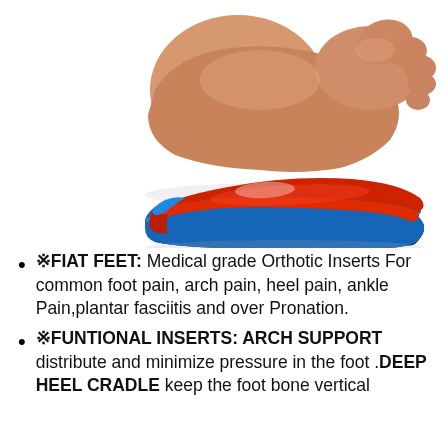[Figure (illustration): 3D rendering of a human foot (bottom/sole view, skin-toned) positioned above a layered orthotic insole with red top layer, blue mid-layer, and black bottom layer, shown at an angle.]
※FIAT FEET: Medical grade Orthotic Inserts For common foot pain, arch pain, heel pain, ankle Pain,plantar fasciitis and over Pronation.
※FUNTIONAL INSERTS: ARCH SUPPORT distribute and minimize pressure in the foot .DEEP HEEL CRADLE keep the foot bone vertical